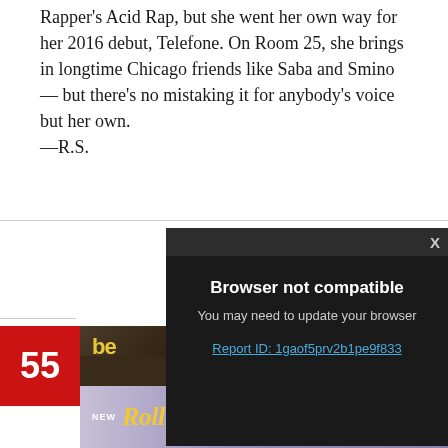Rapper's Acid Rap, but she went her own way for her 2016 debut, Telefone. On Room 25, she brings in longtime Chicago friends like Saba and Smino — but there's no mistaking it for anybody's voice but her own. —R.S.
[Figure (screenshot): Dark popup modal overlay on a webpage showing 'Browser not compatible' message with 'You may need to update your browser' subtitle and a Report ID link. A close button (X) appears in the top right. Below the popup is a partial album cover with a red rank badge showing '55'.]
[Figure (photo): Rolling Stone magazine advertisement banner with purple/lavender gradient background showing the Rolling Stone logo in yellow italic text, 'NEW' label, 'ON SALE SEP 5' text, and a red SUBSCRIBE button.]